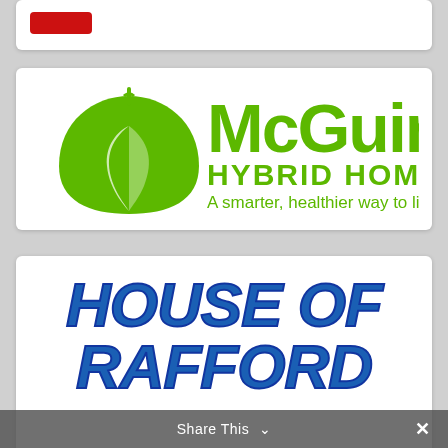[Figure (logo): Partially visible red button/logo at top of page]
[Figure (logo): McGuinn Hybrid Homes logo. Green leaf icon on left, green text reading McGuinn HYBRID HOMES A smarter, healthier way to live.]
[Figure (logo): House of Rafford logo. Bold italic blue text reading HOUSE OF RAFFORD, partially cut off at bottom.]
Share This ∨  ✕